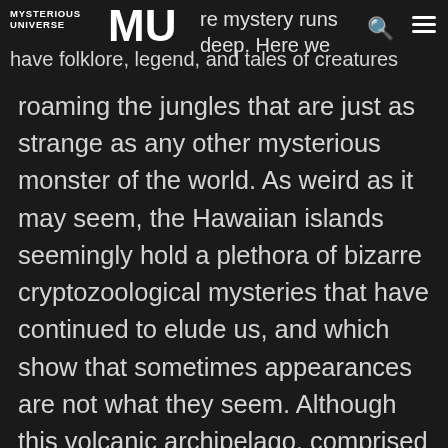MYSTERIOUS UNIVERSE [logo] ...re mystery runs deep. Here we have folklore, legend, and tales of creatures
roaming the jungles that are just as strange as any other mysterious monster of the world. As weird as it may seem, the Hawaiian islands seemingly hold a plethora of bizarre cryptozoological mysteries that have continued to elude us, and which show that sometimes appearances are not what they seem. Although this volcanic archipelago, comprised of hundreds of islands scattered over 1,500 miles (2,400 km) is home to a wide variety of endemic wildlife, mostly birds, there seem to be things allegedly living on and around the islands which by all means should not be here, and which baffle those who have seen them. Out beyond